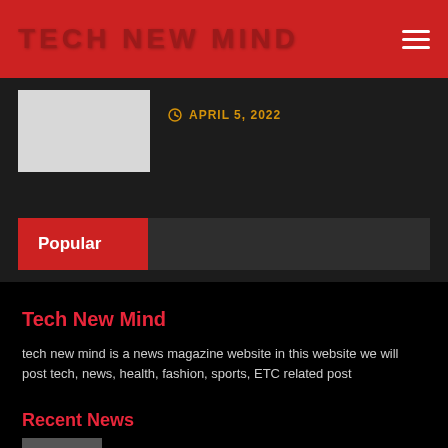TECH NEW MIND
APRIL 5, 2022
Popular
Tech New Mind
tech new mind is a news magazine website in this website we will post tech, news, health, fashion, sports, ETC related post
Recent News